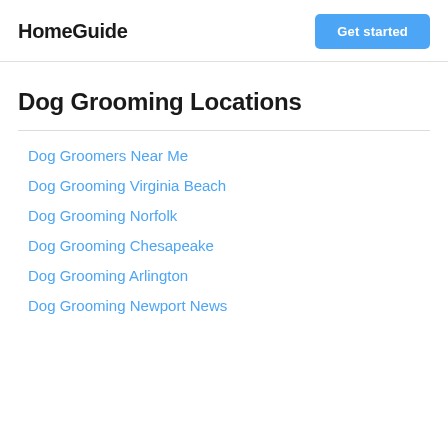HomeGuide | Get started
Dog Grooming Locations
Dog Groomers Near Me
Dog Grooming Virginia Beach
Dog Grooming Norfolk
Dog Grooming Chesapeake
Dog Grooming Arlington
Dog Grooming Newport News